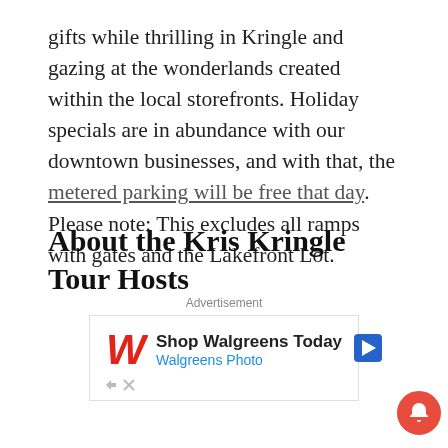gifts while thrilling in Kringle and gazing at the wonderlands created within the local storefronts. Holiday specials are in abundance with our downtown businesses, and with that, the metered parking will be free that day. Please note: This excludes all ramps with gates and the Lakefront Lot.
About the Kris Kringle Tour Hosts
Downtown Racine Corporation is a non-profit whose mission is to foster economic, social and cultural
Advertisement
[Figure (other): Walgreens advertisement banner showing Walgreens logo, text 'Shop Walgreens Today' and 'Walgreens Photo', and a navigation arrow icon.]